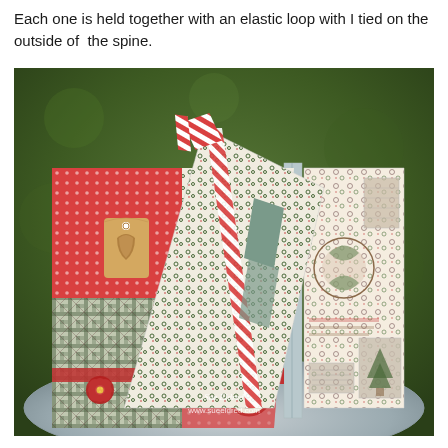Each one is held together with an elastic loop with I tied on the outside of the spine.
[Figure (photo): A handmade Christmas scrapbook mini album displayed open on a metal table outdoors, showing decorative patterned pages with red polka dot, holly, plaid, and striped papers, embellished with a red poinsettia flower, a decorative tag, and a pine cone circle accent. Watermark reads 'Sue Eldred www.sueeldred.com'.]